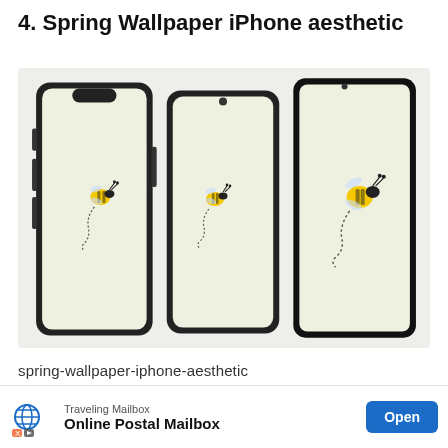4. Spring Wallpaper iPhone aesthetic
[Figure (illustration): Three device mockups (two iPhones and one iPad) displayed side by side on a light beige background, each showing a spring wallpaper with an animated bee illustration on a pale yellow-green background with a dotted flight path trail.]
spring-wallpaper-iphone-aesthetic
The wallpaper features an animated bee and
her li                                                                              ted